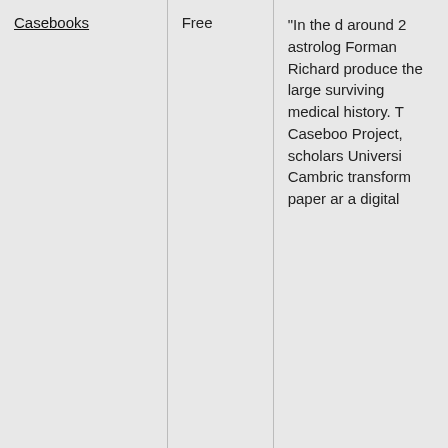| Casebooks | Free | Description |
| --- | --- | --- |
| Casebooks | Free | "In the d around 2 astrolog Forman Richard produce the larg surviving medical history. The Caseboo Project, scholars Universi Cambric transform paper an a digital |